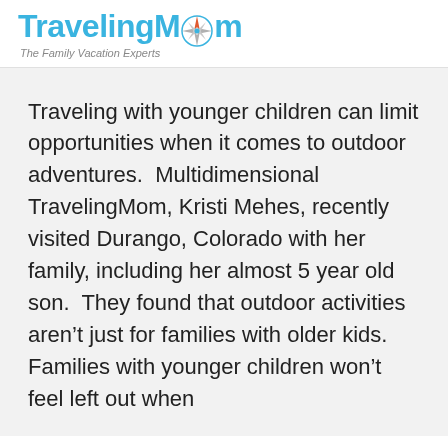[Figure (logo): TravelingMom logo with compass rose replacing the letter O, and tagline 'The Family Vacation Experts' below in italic gray text]
Traveling with younger children can limit opportunities when it comes to outdoor adventures.  Multidimensional TravelingMom, Kristi Mehes, recently visited Durango, Colorado with her family, including her almost 5 year old son.  They found that outdoor activities aren't just for families with older kids.  Families with younger children won't feel left out when